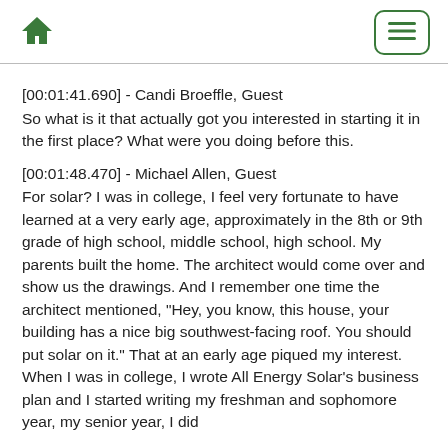[home icon] [menu button]
[00:01:41.690] - Candi Broeffle, Guest
So what is it that actually got you interested in starting it in the first place? What were you doing before this.
[00:01:48.470] - Michael Allen, Guest
For solar? I was in college, I feel very fortunate to have learned at a very early age, approximately in the 8th or 9th grade of high school, middle school, high school. My parents built the home. The architect would come over and show us the drawings. And I remember one time the architect mentioned, "Hey, you know, this house, your building has a nice big southwest-facing roof. You should put solar on it." That at an early age piqued my interest. When I was in college, I wrote All Energy Solar's business plan and I started writing my freshman and sophomore year, my senior year, I did